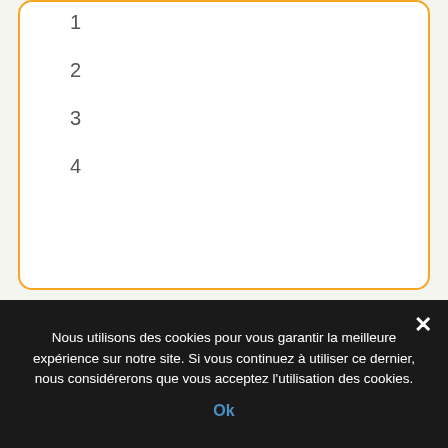1
2
3
4
LAGEPP
Publications
Accès à l'intranet du LAGEPP
Rejoignez-nous sur LinkedIn
Nous utilisons des cookies pour vous garantir la meilleure expérience sur notre site. Si vous continuez à utiliser ce dernier, nous considérerons que vous acceptez l'utilisation des cookies.
Ok